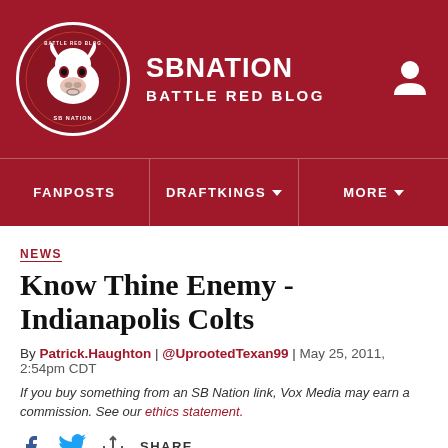SB NATION | BATTLE RED BLOG
FANPOSTS | DRAFTKINGS | MORE
NEWS
Know Thine Enemy - Indianapolis Colts
By Patrick.Haughton | @UprootedTexan99 | May 25, 2011, 2:54pm CDT
If you buy something from an SB Nation link, Vox Media may earn a commission. See our ethics statement.
SHARE
2,500 years ago, a Chinese warrior named Sun Tzu